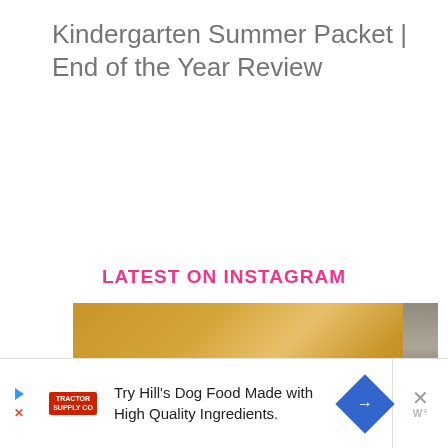Kindergarten Summer Packet | End of the Year Review
LATEST ON INSTAGRAM
[Figure (photo): Photo of a heart-shaped craft or cookie on a wooden surface, partially cropped, with a right side showing blurred bookshelf or shelving.]
Try Hill's Dog Food Made with High Quality Ingredients.